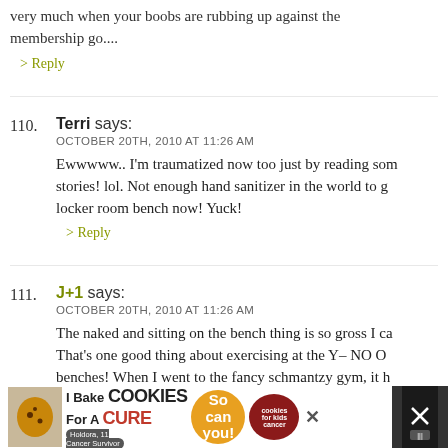very much when your boobs are rubbing up against the membership go....
> Reply
110. Terri says: OCTOBER 20TH, 2010 AT 11:26 AM — Ewwwww.. I'm traumatized now too just by reading some stories! lol. Not enough hand sanitizer in the world to get me on that locker room bench now! Yuck!
> Reply
111. J+1 says: OCTOBER 20TH, 2010 AT 11:26 AM — The naked and sitting on the bench thing is so gross I ca… That's one good thing about exercising at the Y– NO O… benches! When I went to the fancy schmantzy gym, it h… time. Ladies, there are germs at fancy gyms, too. Get yo… bench where I just had my shoes!!!
[Figure (screenshot): Advertisement banner: I Bake COOKIES For A CURE with Holdora, 11 Cancer Survivor, So can you!, cookies for kids cancer badge, with close button]